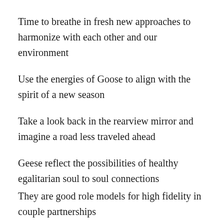Time to breathe in fresh new approaches to harmonize with each other and our environment
Use the energies of Goose to align with the spirit of a new season
Take a look back in the rearview mirror and imagine a road less traveled ahead
Geese reflect the possibilities of healthy egalitarian soul to soul connections
They are good role models for high fidelity in couple partnerships